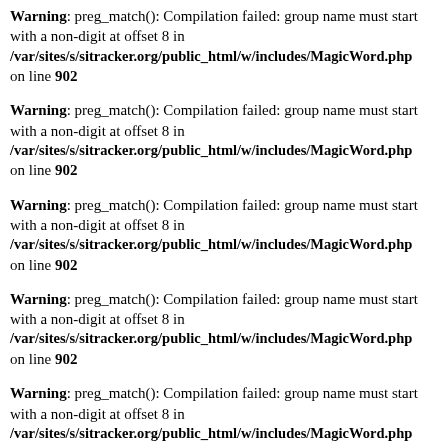Warning: preg_match(): Compilation failed: group name must start with a non-digit at offset 8 in /var/sites/s/sitracker.org/public_html/w/includes/MagicWord.php on line 902
Warning: preg_match(): Compilation failed: group name must start with a non-digit at offset 8 in /var/sites/s/sitracker.org/public_html/w/includes/MagicWord.php on line 902
Warning: preg_match(): Compilation failed: group name must start with a non-digit at offset 8 in /var/sites/s/sitracker.org/public_html/w/includes/MagicWord.php on line 902
Warning: preg_match(): Compilation failed: group name must start with a non-digit at offset 8 in /var/sites/s/sitracker.org/public_html/w/includes/MagicWord.php on line 902
Warning: preg_match(): Compilation failed: group name must start with a non-digit at offset 8 in /var/sites/s/sitracker.org/public_html/w/includes/MagicWord.php on line 902